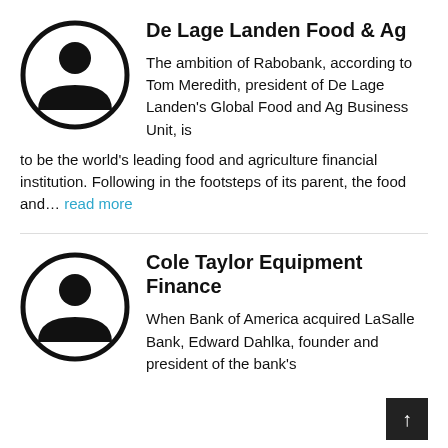[Figure (illustration): Circular avatar icon with a person silhouette, black outline circle]
De Lage Landen Food & Ag
The ambition of Rabobank, according to Tom Meredith, president of De Lage Landen's Global Food and Ag Business Unit, is to be the world's leading food and agriculture financial institution. Following in the footsteps of its parent, the food and... read more
[Figure (illustration): Circular avatar icon with a person silhouette, black outline circle]
Cole Taylor Equipment Finance
When Bank of America acquired LaSalle Bank, Edward Dahlka, founder and president of the bank's